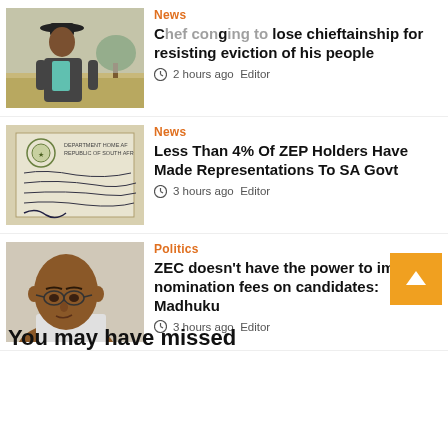[Figure (photo): Elderly man wearing a hat and suit jacket standing outdoors]
News
Chief going to lose chieftainship for resisting eviction of his people
2 hours ago  Editor
[Figure (photo): Document/form from Department of Home Affairs Republic of South Africa]
News
Less Than 4% Of ZEP Holders Have Made Representations To SA Govt
3 hours ago  Editor
[Figure (photo): Portrait of a man wearing glasses]
Politics
ZEC doesn't have the power to impose nomination fees on candidates: Madhuku
3 hours ago  Editor
You may have missed